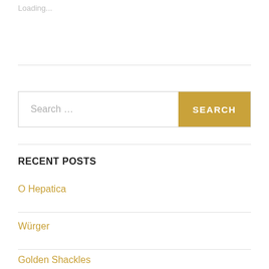Loading...
[Figure (screenshot): Search bar with text input placeholder 'Search ...' and a gold 'SEARCH' button]
RECENT POSTS
O Hepatica
Würger
Golden Shackles